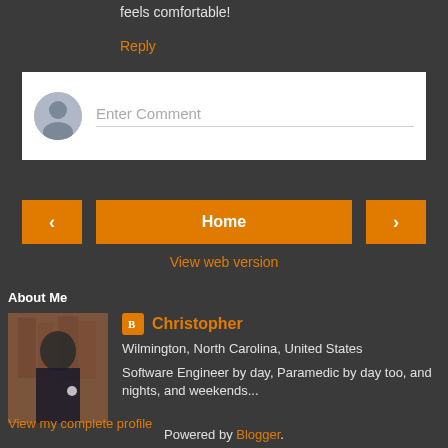feels comfortable!
Reply
[Figure (other): Comment input box with avatar placeholder and 'Enter Comment' text field]
[Figure (other): Navigation bar with left arrow, Home button, and right arrow buttons]
View web version
About Me
[Figure (photo): Profile photo of Christopher - man wearing dark uniform in front of brick wall]
Christopher
Wilmington, North Carolina, United States
Software Engineer by day, Paramedic by day too, and nights, and weekends...
View my complete profile
Powered by Blogger.